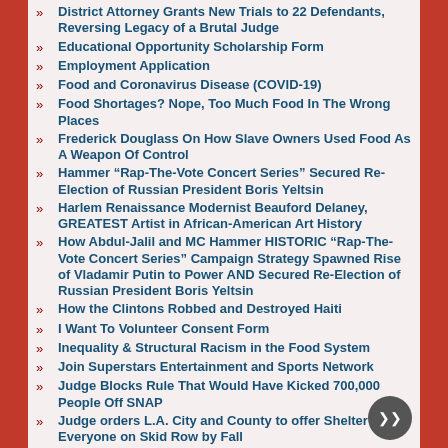District Attorney Grants New Trials to 22 Defendants, Reversing Legacy of a Brutal Judge
Educational Opportunity Scholarship Form
Employment Application
Food and Coronavirus Disease (COVID-19)
Food Shortages? Nope, Too Much Food In The Wrong Places
Frederick Douglass On How Slave Owners Used Food As A Weapon Of Control
Hammer “Rap-The-Vote Concert Series” Secured Re-Election of Russian President Boris Yeltsin
Harlem Renaissance Modernist Beauford Delaney, GREATEST Artist in African-American Art History
How Abdul-Jalil and MC Hammer HISTORIC “Rap-The-Vote Concert Series” Campaign Strategy Spawned Rise of Vladamir Putin to Power AND Secured Re-Election of Russian President Boris Yeltsin
How the Clintons Robbed and Destroyed Haiti
I Want To Volunteer Consent Form
Inequality & Structural Racism in the Food System
Join Superstars Entertainment and Sports Network
Judge Blocks Rule That Would Have Kicked 700,000 People Off SNAP
Judge orders L.A. City and County to offer Shelter to Everyone on Skid Row by Fall
Kamala Harris, Government Stole Server, "scrubbed" internet, shut down al-Hakim's Social Media to Silence Voice Exposing Criminal